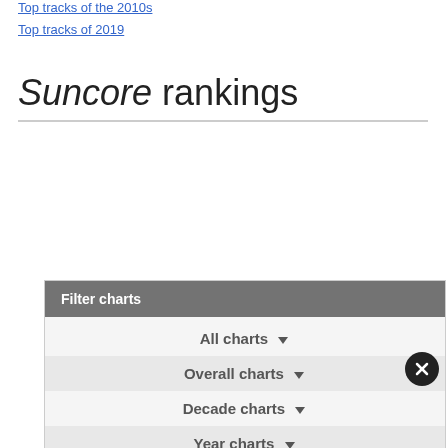Top tracks of the 2010s
Top tracks of 2019
Suncore rankings
Filter charts
All charts
Overall charts
Decade charts
Year charts
Custom charts